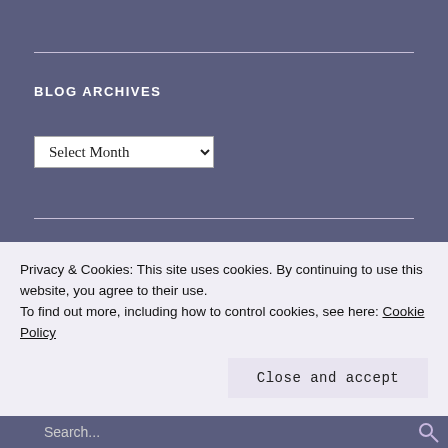BLOG ARCHIVES
BLOG STATS
Privacy & Cookies: This site uses cookies. By continuing to use this website, you agree to their use.
To find out more, including how to control cookies, see here: Cookie Policy
Close and accept
Search...